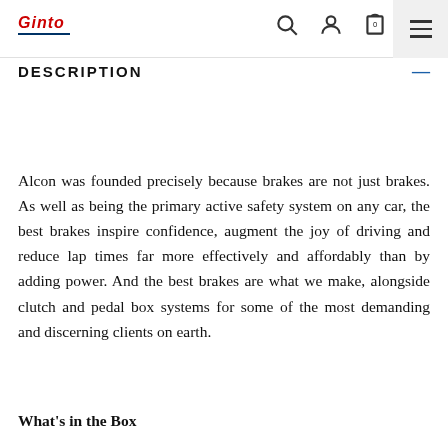Ginto logo, search icon, user icon, cart icon (0), hamburger menu
DESCRIPTION
Alcon was founded precisely because brakes are not just brakes. As well as being the primary active safety system on any car, the best brakes inspire confidence, augment the joy of driving and reduce lap times far more effectively and affordably than by adding power. And the best brakes are what we make, alongside clutch and pedal box systems for some of the most demanding and discerning clients on earth.
What's in the Box